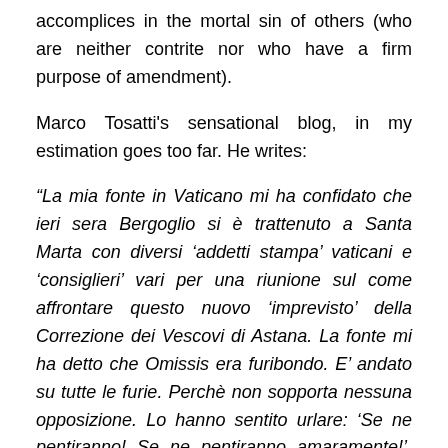accomplices in the mortal sin of others (who are neither contrite nor who have a firm purpose of amendment).
Marco Tosatti's sensational blog, in my estimation goes too far. He writes:
“La mia fonte in Vaticano mi ha confidato che ieri sera Bergoglio si è trattenuto a Santa Marta con diversi ‘addetti stampa’ vaticani e ‘consiglieri’ vari per una riunione sul come affrontare questo nuovo ‘imprevisto’ della Correzione dei Vescovi di Astana. La fonte mi ha detto che Omissis era furibondo. E’ andato su tutte le furie. Perchè non sopporta nessuna opposizione. Lo hanno sentito urlare: ‘Se ne pentiranno! Se ne pentiranno amaramente!’. Riferito ovviamente ai coraggiosi Vescovi che hanno ‘osato’ contraddire il neovangelo della neochiesa: l’Amoris Laetitia.”